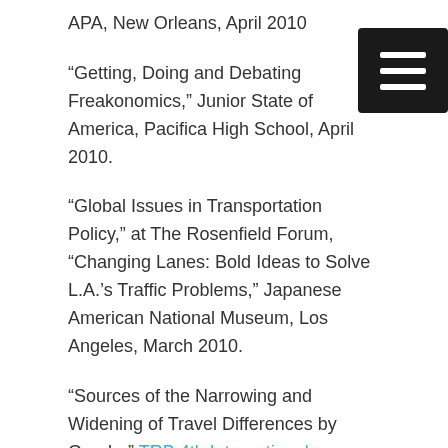APA, New Orleans, April 2010
“Getting, Doing and Debating Freakonomics,” Junior State of America, Pacifica High School, April 2010.
“Global Issues in Transportation Policy,” at The Rosenfield Forum, “Changing Lanes: Bold Ideas to Solve L.A.’s Traffic Problems,” Japanese American National Museum, Los Angeles, March 2010.
“Sources of the Narrowing and Widening of Travel Differences by Gender” TRB 4th International Conference on Women’s Issues in Transportation, Beckman Center, Irvine, October 2009
“Sex Changes Everything: The Recent